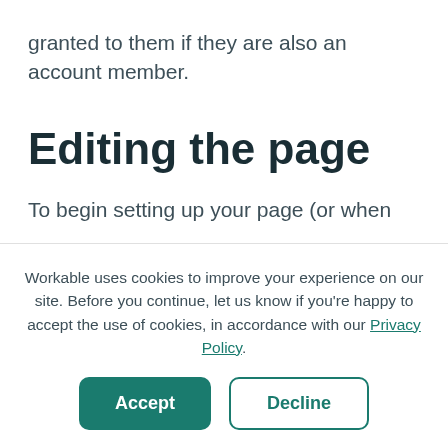granted to them if they are also an account member.
Editing the page
To begin setting up your page (or when
Workable uses cookies to improve your experience on our site. Before you continue, let us know if you're happy to accept the use of cookies, in accordance with our Privacy Policy.
Accept  Decline